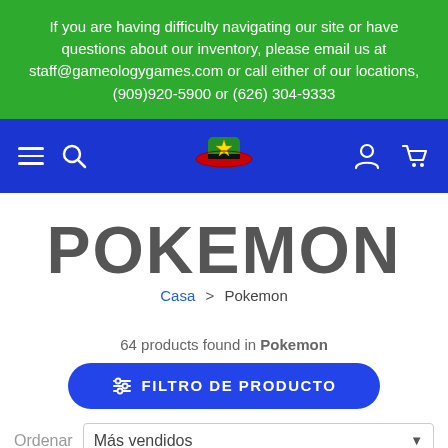If you are having difficulty navigating our site or have questions about our inventory, please email us at staff@gameologygames.com or call either of our locations, (909)920-5900 or (626) 304-9333
[Figure (screenshot): Blue navigation bar with hamburger menu icon, search icon, store logo (Gameology Games), user account icon, and shopping cart icon on blue background]
POKEMON
Casa > Pokemon
64 products found in Pokemon
FILTRO DE PRODUCTO
Ordenar   Más vendidos